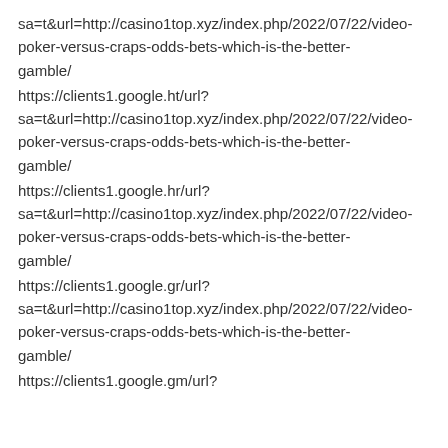sa=t&url=http://casino1top.xyz/index.php/2022/07/22/video-poker-versus-craps-odds-bets-which-is-the-better-gamble/
https://clients1.google.ht/url?sa=t&url=http://casino1top.xyz/index.php/2022/07/22/video-poker-versus-craps-odds-bets-which-is-the-better-gamble/
https://clients1.google.hr/url?sa=t&url=http://casino1top.xyz/index.php/2022/07/22/video-poker-versus-craps-odds-bets-which-is-the-better-gamble/
https://clients1.google.gr/url?sa=t&url=http://casino1top.xyz/index.php/2022/07/22/video-poker-versus-craps-odds-bets-which-is-the-better-gamble/
https://clients1.google.gm/url?